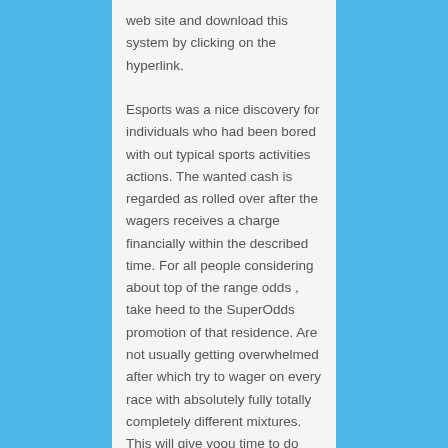web site and download this system by clicking on the hyperlink. Esports was a nice discovery for individuals who had been bored with out typical sports activities actions. The wanted cash is regarded as rolled over after the wagers receives a charge financially within the described time. For all people considering about top of the range odds , take heed to the SuperOdds promotion of that residence. Are not usually getting overwhelmed after which try to wager on every race with absolutely fully totally completely different mixtures. This will give yoou time to do one thing other than pplaying on-line on line on line on line on line casino. [newline]Its not addictive as